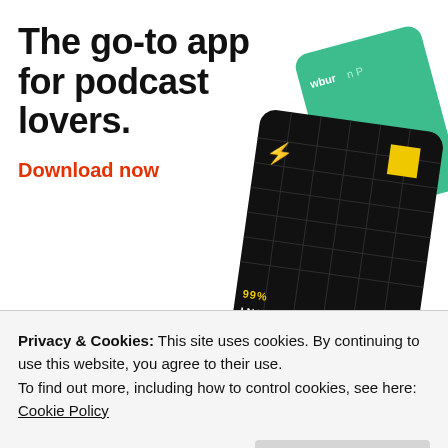[Figure (illustration): Pocket Casts advertisement banner showing podcast app cards (99% Invisible, The Daily, WBUR On Point) and Pocket Casts logo with text 'The go-to app for podcast lovers. Download now']
LynDurante on 16/06/2017 at 11:00
Privacy & Cookies: This site uses cookies. By continuing to use this website, you agree to their use.
To find out more, including how to control cookies, see here: Cookie Policy
thanks for taking the time to like my reblog at